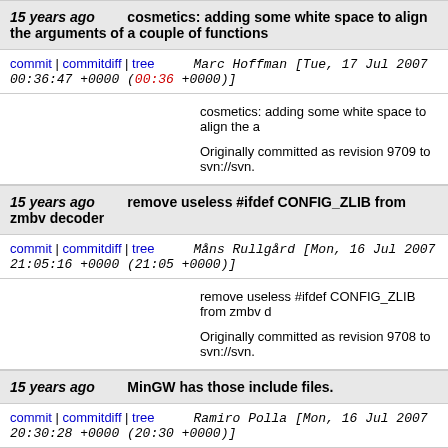15 years ago   cosmetics: adding some white space to align the arguments of a couple of functions
commit | commitdiff | tree   Marc Hoffman [Tue, 17 Jul 2007 00:36:47 +0000 (00:36 +0000)]
cosmetics: adding some white space to align the a

Originally committed as revision 9709 to svn://svn.
15 years ago   remove useless #ifdef CONFIG_ZLIB from zmbv decoder
commit | commitdiff | tree   Måns Rullgård [Mon, 16 Jul 2007 21:05:16 +0000 (21:05 +0000)]
remove useless #ifdef CONFIG_ZLIB from zmbv d

Originally committed as revision 9708 to svn://svn.
15 years ago   MinGW has those include files.
commit | commitdiff | tree   Ramiro Polla [Mon, 16 Jul 2007 20:30:28 +0000 (20:30 +0000)]
MinGW has those include files.